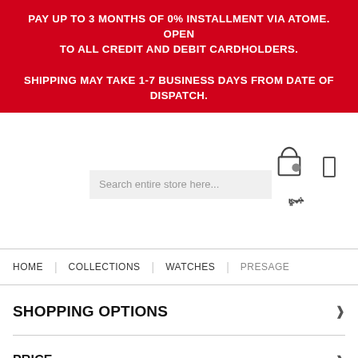PAY UP TO 3 MONTHS OF 0% INSTALLMENT VIA ATOME. OPEN TO ALL CREDIT AND DEBIT CARDHOLDERS. SHIPPING MAY TAKE 1-7 BUSINESS DAYS FROM DATE OF DISPATCH.
[Figure (screenshot): E-commerce store header with search bar, cart icon, and mobile icon]
HOME | COLLECTIONS | WATCHES | PRESAGE
SHOPPING OPTIONS
PRICE